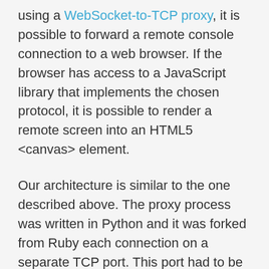using a WebSocket-to-TCP proxy, it is possible to forward a remote console connection to a web browser. If the browser has access to a JavaScript library that implements the chosen protocol, it is possible to render a remote screen into an HTML5 <canvas> element.
Our architecture is similar to the one described above. The proxy process was written in Python and it was forked from Ruby each connection on a separate TCP port. This port had to be opened on the firewall, so the browser could connect to it directly. It was not an ideal solution, but it worked. I envisioned a proxy that runs inside the Ruby world as a Rack server, so it could be mounted into our Rails application as a route. The browser visits a URL